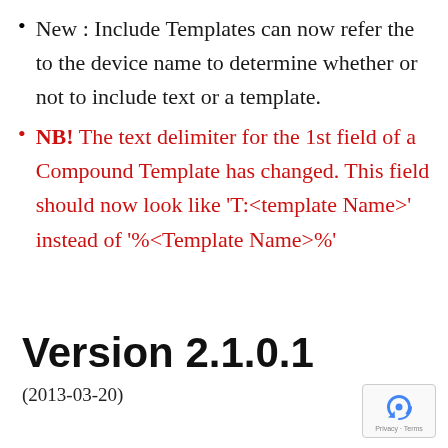New : Include Templates can now refer the to the device name to determine whether or not to include text or a template.
NB! The text delimiter for the 1st field of a Compound Template has changed. This field should now look like 'T:<template Name>' instead of '%<Template Name>%'
Version 2.1.0.1
(2013-03-20)